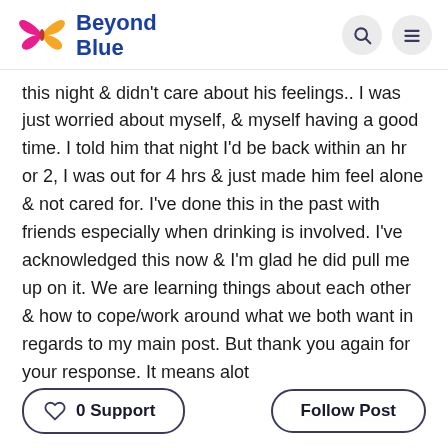Beyond Blue
this night & didn't care about his feelings.. I was just worried about myself, & myself having a good time. I told him that night I'd be back within an hr or 2, I was out for 4 hrs & just made him feel alone & not cared for. I've done this in the past with friends especially when drinking is involved. I've acknowledged this now & I'm glad he did pull me up on it. We are learning things about each other & how to cope/work around what we both want in regards to my main post. But thank you again for your response. It means alot
0 Support
Follow Post